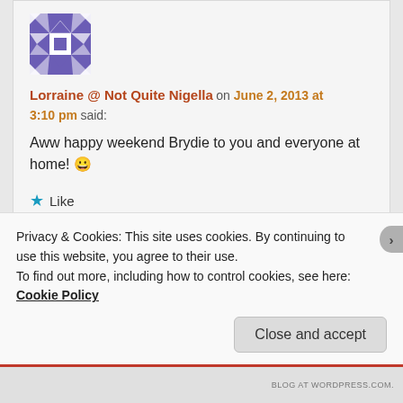[Figure (illustration): Blue/purple geometric quilt-pattern avatar icon for user Lorraine @ Not Quite Nigella]
Lorraine @ Not Quite Nigella on June 2, 2013 at 3:10 pm said:
Aww happy weekend Brydie to you and everyone at home! 😀
★ Like
Reply ↓
Privacy & Cookies: This site uses cookies. By continuing to use this website, you agree to their use.
To find out more, including how to control cookies, see here: Cookie Policy
Close and accept